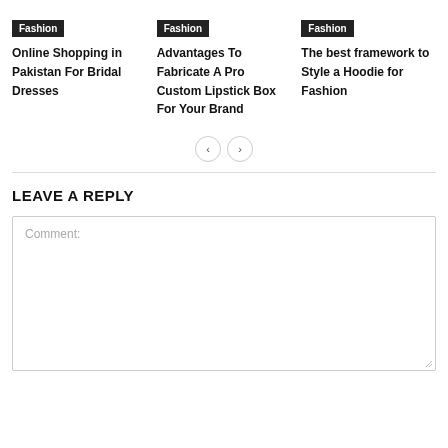Fashion
Online Shopping in Pakistan For Bridal Dresses
Fashion
Advantages To Fabricate A Pro Custom Lipstick Box For Your Brand
Fashion
The best framework to Style a Hoodie for Fashion
LEAVE A REPLY
Comment: